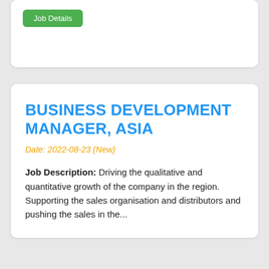Job Details
BUSINESS DEVELOPMENT MANAGER, ASIA
Date: 2022-08-23 (New)
Job Description: Driving the qualitative and quantitative growth of the company in the region. Supporting the sales organisation and distributors and pushing the sales in the...